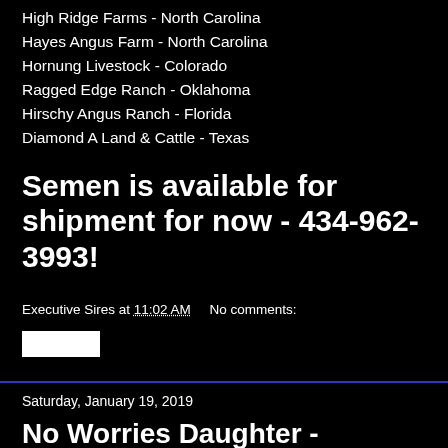High Ridge Farms - North Carolina
Hayes Angus Farm - North Carolina
Hornung Livestock - Colorado
Ragged Edge Ranch - Oklahoma
Hirschy Angus Ranch - Florida
Diamond A Land & Cattle - Texas
Semen is available for shipment for now - 434-962-3993!
Executive Sires at 11:02 AM    No comments:
Saturday, January 19, 2019
No Worries Daughter - Produces $200,000 Bull for Duello Cattle - No Worries Daughters are Truly Special as